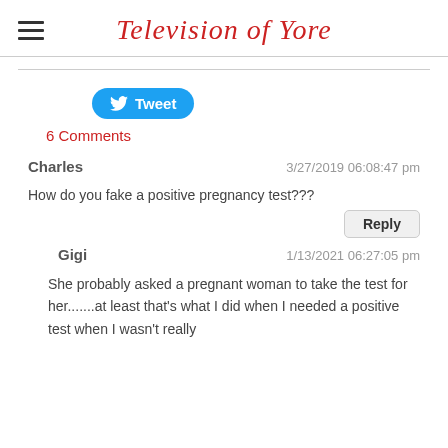Television of Yore
Tweet
6 Comments
Charles	3/27/2019 06:08:47 pm
How do you fake a positive pregnancy test???
Gigi	1/13/2021 06:27:05 pm
She probably asked a pregnant woman to take the test for her.......at least that's what I did when I needed a positive test when I wasn't really